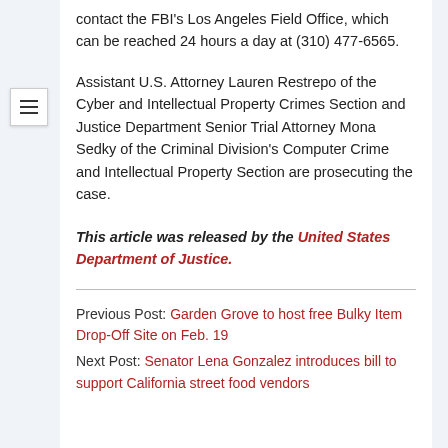contact the FBI's Los Angeles Field Office, which can be reached 24 hours a day at (310) 477-6565.
Assistant U.S. Attorney Lauren Restrepo of the Cyber and Intellectual Property Crimes Section and Justice Department Senior Trial Attorney Mona Sedky of the Criminal Division's Computer Crime and Intellectual Property Section are prosecuting the case.
This article was released by the United States Department of Justice.
Previous Post: Garden Grove to host free Bulky Item Drop-Off Site on Feb. 19
Next Post: Senator Lena Gonzalez introduces bill to support California street food vendors